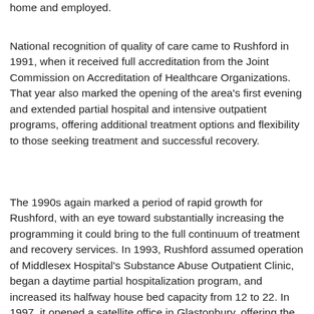home and employed.
National recognition of quality of care came to Rushford in 1991, when it received full accreditation from the Joint Commission on Accreditation of Healthcare Organizations. That year also marked the opening of the area's first evening and extended partial hospital and intensive outpatient programs, offering additional treatment options and flexibility to those seeking treatment and successful recovery.
The 1990s again marked a period of rapid growth for Rushford, with an eye toward substantially increasing the programming it could bring to the full continuum of treatment and recovery services. In 1993, Rushford assumed operation of Middlesex Hospital's Substance Abuse Outpatient Clinic, began a daytime partial hospitalization program, and increased its halfway house bed capacity from 12 to 22. In 1997, it opened a satellite office in Glastonbury, offering the full range of outpatient recovery services for teens and adults, and established early identification services in its community.